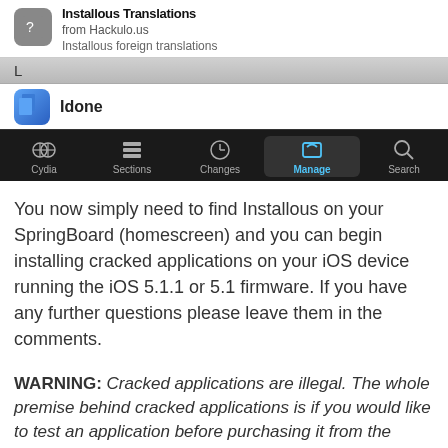[Figure (screenshot): iOS Cydia package manager screenshot showing 'Installous Translations' from Hackulo.us, section header 'L', 'Idone' app entry, and Cydia navigation bar with tabs: Cydia, Sections, Changes, Manage (active), Search]
You now simply need to find Installous on your SpringBoard (homescreen) and you can begin installing cracked applications on your iOS device running the iOS 5.1.1 or 5.1 firmware. If you have any further questions please leave them in the comments.
WARNING: Cracked applications are illegal. The whole premise behind cracked applications is if you would like to test an application before purchasing it from the